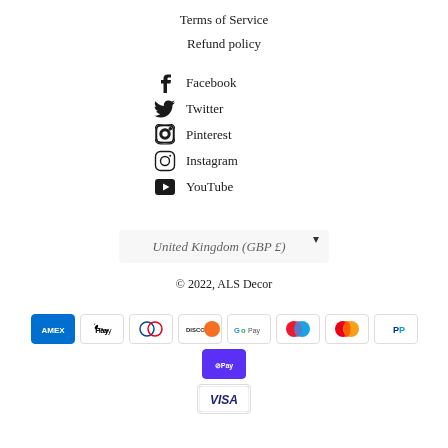Terms of Service
Refund policy
Facebook
Twitter
Pinterest
Instagram
YouTube
United Kingdom (GBP £)
© 2022, ALS Decor
[Figure (other): Payment method icons: American Express, Apple Pay, Diners Club, Discover, Google Pay, Maestro, Mastercard, PayPal, Shop Pay, Visa]